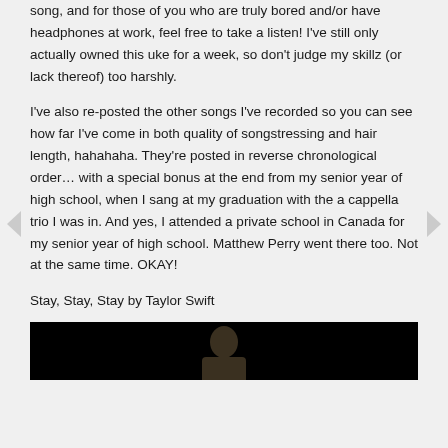song, and for those of you who are truly bored and/or have headphones at work, feel free to take a listen! I've still only actually owned this uke for a week, so don't judge my skillz (or lack thereof) too harshly.
I've also re-posted the other songs I've recorded so you can see how far I've come in both quality of songstressing and hair length, hahahaha. They're posted in reverse chronological order... with a special bonus at the end from my senior year of high school, when I sang at my graduation with the a cappella trio I was in. And yes, I attended a private school in Canada for my senior year of high school. Matthew Perry went there too. Not at the same time. OKAY!
Stay, Stay, Stay by Taylor Swift
[Figure (photo): Video thumbnail showing a person, dark background]